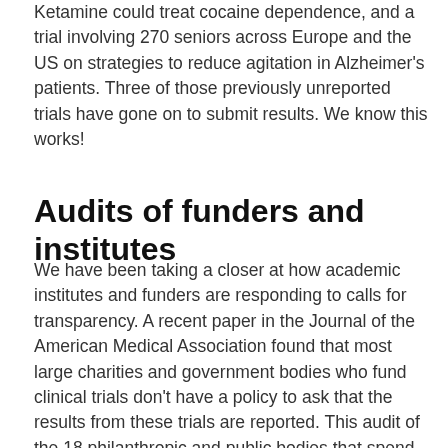Ketamine could treat cocaine dependence, and a trial involving 270 seniors across Europe and the US on strategies to reduce agitation in Alzheimer's patients. Three of those previously unreported trials have gone on to submit results. We know this works!
Audits of funders and institutes
We have been taking a closer at how academic institutes and funders are responding to calls for transparency. A recent paper in the Journal of the American Medical Association found that most large charities and government bodies who fund clinical trials don't have a policy to ask that the results from these trials are reported. This audit of the 18 philanthropic and public bodies that spend the most money on clinical research found that most (66%) do require researchers to report results and that only half ask for clinical trials to be registered. Only two of these global